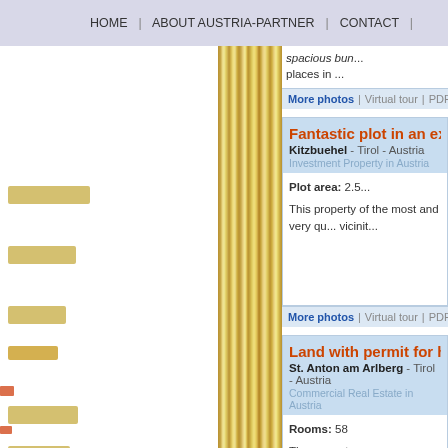HOME | ABOUT AUSTRIA-PARTNER | CONTACT |
spacious bun... places in ...
More photos | Virtual tour | PDF-brochure | Prop...
Fantastic plot in an exclusive lo...
Kitzbuehel - Tirol - Austria
Investment Property in Austria
Plot area: 2.5...
This property of the most and very qu... vicinit...
More photos | Virtual tour | PDF-brochure | Prop...
Land with permit for hotel in St....
St. Anton am Arlberg - Tirol - Austria
Commercial Real Estate in Austria
Rooms: 58
The property...